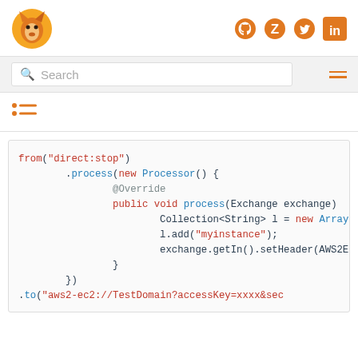[Figure (logo): Orange fox/wolf logo on top-left, and social media icons (GitHub, Zulip, Twitter, LinkedIn) on top-right in orange]
[Figure (screenshot): Search bar with magnifying glass icon and placeholder text 'Search', plus hamburger menu on the right]
[Figure (screenshot): TOC (table of contents) icon — two horizontal lines with bullet dots]
[Figure (screenshot): Code block with syntax-highlighted Java code snippet using Apache Camel AWS2-EC2 component]